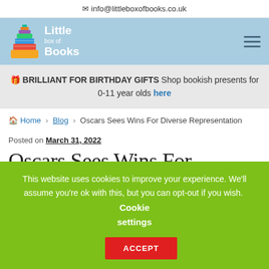✉ info@littleboxofbooks.co.uk
[Figure (logo): Little Box of Books logo with colourful stacked books tower and text 'Little box of Books' in white on light blue header, with hamburger menu icon]
🎁 BRILLIANT FOR BIRTHDAY GIFTS Shop bookish presents for 0-11 year olds here
🏠 Home › Blog › Oscars Sees Wins For Diverse Representation
Posted on March 31, 2022
Oscars Sees Wins For
This website uses cookies to improve your experience. We'll assume you're ok with this, but you can opt-out if you wish. Cookie settings ACCEPT